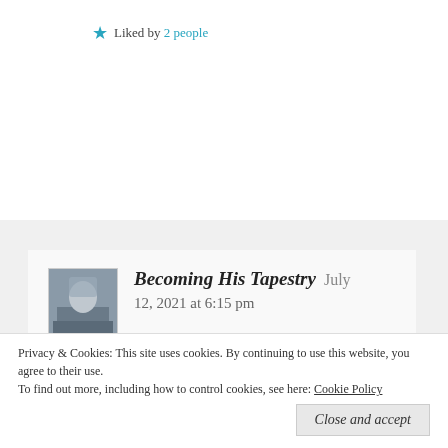Liked by 2 people
Reply
Becoming His Tapestry  July 12, 2021 at 6:15 pm
😂😂😂😂 oh my goodness 🤣🤣that's a good one.
Privacy & Cookies: This site uses cookies. By continuing to use this website, you agree to their use.
To find out more, including how to control cookies, see here: Cookie Policy
Close and accept